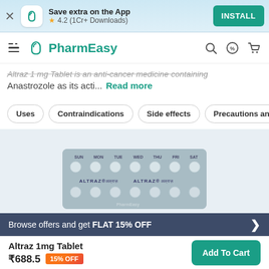[Figure (screenshot): App install banner with PharmEasy logo, '4.2 (1Cr+ Downloads)', and INSTALL button]
[Figure (screenshot): PharmEasy navigation bar with hamburger menu, logo, search, discount badge and cart icons]
Altraz 1 mg Tablet is an anti-cancer medicine containing Anastrozole as its acti... Read more
Uses
Contraindications
Side effects
Precautions and Warnings
[Figure (photo): Blister pack of Altraz tablets labeled with days SUN MON TUE WED THU FRI SAT]
Browse offers and get FLAT 15% OFF
Altraz 1mg Tablet
₹688.5  15% OFF
Add To Cart